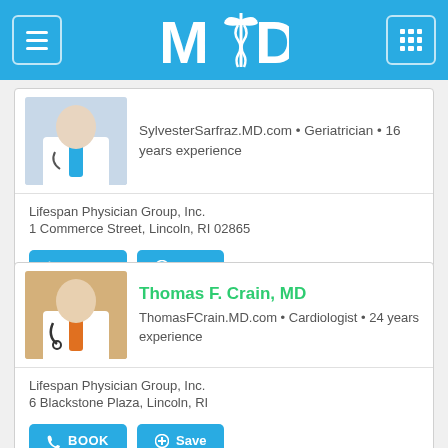MD (logo) - Medical doctors directory
[Figure (photo): Doctor photo - partial, Sylvester Sarfraz MD - Geriatrician]
SylvesterSarfraz.MD.com • Geriatrician • 16 years experience
Lifespan Physician Group, Inc.
1 Commerce Street, Lincoln, RI 02865
Thomas F. Crain, MD
ThomasFCrain.MD.com • Cardiologist • 24 years experience
Lifespan Physician Group, Inc.
6 Blackstone Plaza, Lincoln, RI